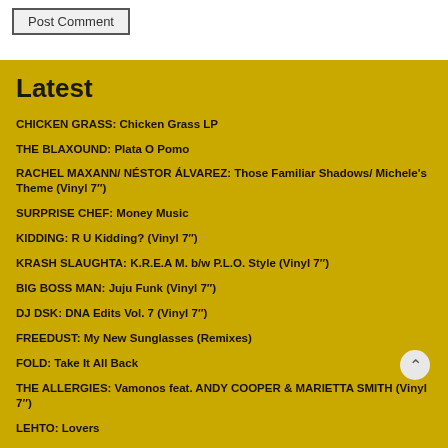Post Comment
Latest
CHICKEN GRASS: Chicken Grass LP
THE BLAXOUND: Plata O Pomo
RACHEL MAXANN/ NÉSTOR ÁLVAREZ: Those Familiar Shadows/ Michele's Theme (Vinyl 7″)
SURPRISE CHEF: Money Music
KIDDING: R U Kidding? (Vinyl 7″)
KRASH SLAUGHTA: K.R.E.A M. b/w P.L.O. Style (Vinyl 7″)
BIG BOSS MAN: Juju Funk (Vinyl 7″)
DJ DSK: DNA Edits Vol. 7 (Vinyl 7″)
FREEDUST: My New Sunglasses (Remixes)
FOLD: Take It All Back
THE ALLERGIES: Vamonos feat. ANDY COOPER & MARIETTA SMITH (Vinyl 7″)
LEHTO: Lovers
MEGA RAN & AMERIGO GAZAWAY: STRANGERS: Back To The Lab
JOE STURGES & LUCAS DE MULDER: Instead Of Number Five